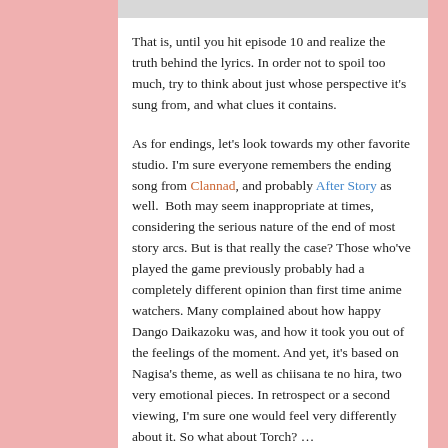That is, until you hit episode 10 and realize the truth behind the lyrics. In order not to spoil too much, try to think about just whose perspective it's sung from, and what clues it contains.
As for endings, let's look towards my other favorite studio. I'm sure everyone remembers the ending song from Clannad, and probably After Story as well.  Both may seem inappropriate at times, considering the serious nature of the end of most story arcs. But is that really the case? Those who've played the game previously probably had a completely different opinion than first time anime watchers. Many complained about how happy Dango Daikazoku was, and how it took you out of the feelings of the moment. And yet, it's based on Nagisa's theme, as well as chiisana te no hira, two very emotional pieces. In retrospect or a second viewing, I'm sure one would feel very differently about it. So what about Torch? …
Nope, still sucks (and if you've heard the full version it